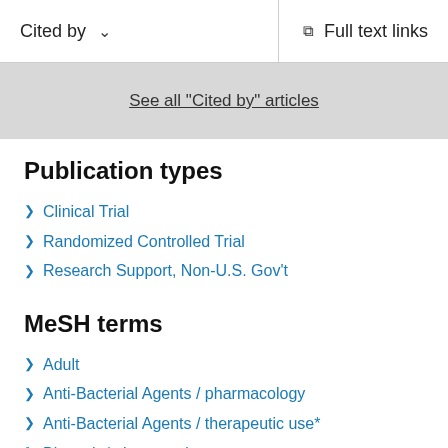Cited by   Full text links
See all "Cited by" articles
Publication types
Clinical Trial
Randomized Controlled Trial
Research Support, Non-U.S. Gov't
MeSH terms
Adult
Anti-Bacterial Agents / pharmacology
Anti-Bacterial Agents / therapeutic use*
Bismuth / pharmacology
Bismuth / therapeutic use